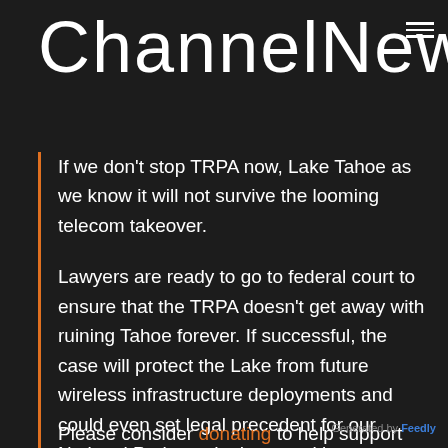ChannelNews
If we don't stop TRPA now, Lake Tahoe as we know it will not survive the looming telecom takeover.
Lawyers are ready to go to federal court to ensure that the TRPA doesn't get away with ruining Tahoe forever. If successful, the case will protect the Lake from future wireless infrastructure deployments and could even set legal precedent for our National Parks and other sensitive environments.
Please consider donating to help support
Generated by Feedly